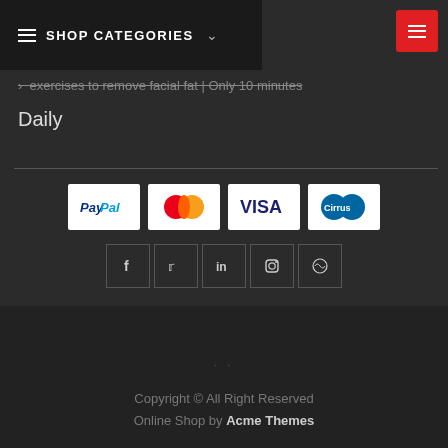SHOP CATEGORIES
exercises to remove facial fat | Only 10 minutes Daily
[Figure (logo): Payment method logos: PayPal, MasterCard, VISA, Cirrus]
[Figure (infographic): Social media icons: Facebook, Twitter, LinkedIn, Instagram, WordPress]
Copyright © All Right Reserved Online Shop by Acme Themes